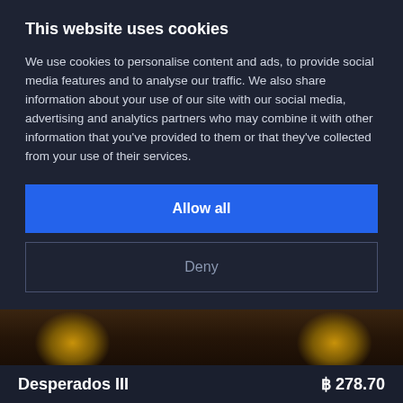This website uses cookies
We use cookies to personalise content and ads, to provide social media features and to analyse our traffic. We also share information about your use of our site with our social media, advertising and analytics partners who may combine it with other information that you've provided to them or that they've collected from your use of their services.
Allow all
Deny
Show details
[Figure (screenshot): Game banner image showing Desperados III with golden circular medallion elements on dark background]
Desperados III
฿ 278.70